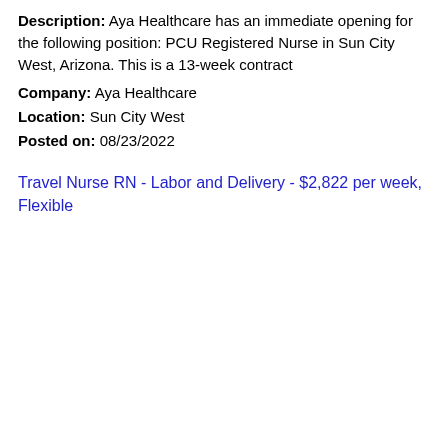Description: Aya Healthcare has an immediate opening for the following position: PCU Registered Nurse in Sun City West, Arizona. This is a 13-week contract
Company: Aya Healthcare
Location: Sun City West
Posted on: 08/23/2022
Travel Nurse RN - Labor and Delivery - $2,822 per week, Flexible